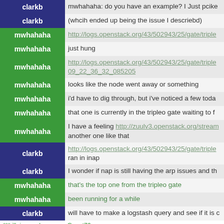clarkb: mwhahaha: do you have an example? I Just pcike
clarkb: (whcih ended up being the issue I descriebd)
mwhahaha: http://logs.openstack.org/43/502943/25/gate/triple
mwhahaha: just hung
mwhahaha: http://logs.openstack.org/43/502943/25/gate/triple 09_22_36_32_085205
mwhahaha: looks like the node went away or something
mwhahaha: i'd have to dig through, but i've noticed a few toda
mwhahaha: that one is currently in the tripleo gate waiting to f
mwhahaha: I have a feeling http://zuulv3.openstack.org/stream another one like that
clarkb: http://logs.openstack.org/43/502943/25/gate/triple ran in inap
clarkb: I wonder if nap is still having the arp issues and th
mwhahaha: that's the top one from the tripleo gate
mwhahaha: been running for a while
clarkb: will have to make a logstash query and see if it is c
*** jlk is now known as Guest76
*** aeng has joined #openstack-infra
clarkb: mwhahaha: logstash says its fairly evenly distribut
clarkb: corvus: I'm noticing we don't put the zuul executor